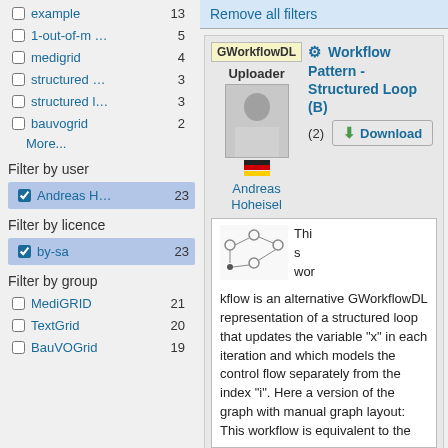example 13
1-out-of-m … 5
medigrid 4
structured … 3
structured l… 3
bauvogrid 2
More...
Filter by user
Andreas H… 23
Filter by licence
by-sa 23
Filter by group
MediGRID 21
TextGrid 20
BauVOGrid 19
Remove all filters
Workflow Pattern - Structured Loop (B)
GWorkflowDL
Uploader
Andreas Hoheisel
(2)
Download
[Figure (other): Workflow diagram showing structured loop pattern with nodes and edges]
This workflow is an alternative GWorkflowDL representation of a structured loop that updates the variable "x" in each iteration and which models the control flow separately from the index "i". Here a version of the graph with manual graph layout: This workflow is equivalent to the